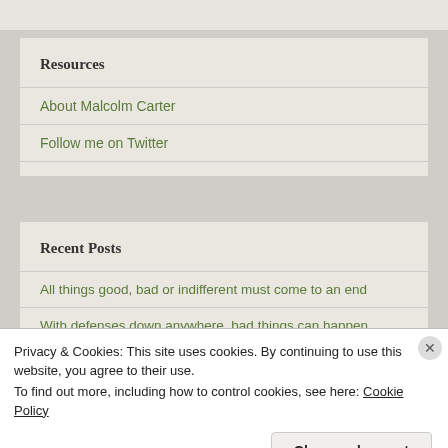Resources
About Malcolm Carter
Follow me on Twitter
Recent Posts
All things good, bad or indifferent must come to an end
With defenses down anywhere, bad things can happen
Privacy & Cookies: This site uses cookies. By continuing to use this website, you agree to their use.
To find out more, including how to control cookies, see here: Cookie Policy
Close and accept